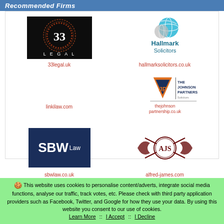Recommended Firms
[Figure (logo): 33 Legal logo - dark background with ornate circular border and '33 LEGAL' text]
33legal.uk
[Figure (logo): Hallmark Solicitors logo - globe imagery with teal/blue colors and company name]
hallmarksolicitors.co.uk
linkilaw.com
[Figure (logo): The Johnson Partnership Solicitors logo - orange and navy triangle with JP initials]
thejohnson partnership.co.uk
[Figure (logo): SBW Law logo - navy blue rectangle with white text SBWLaw]
sbwlaw.co.uk
[Figure (logo): Alfred-James Solicitors logo - dark red ornate circular crest with AJS monogram]
alfred-james.com
This website uses cookies to personalise content/adverts, integrate social media functions, analyse our traffic, track votes, etc. Please check with third party application providers such as Facebook, Twitter, and Google for how they use your data. By using this website you consent to our use of cookies. Learn More :: I Accept :: I Decline